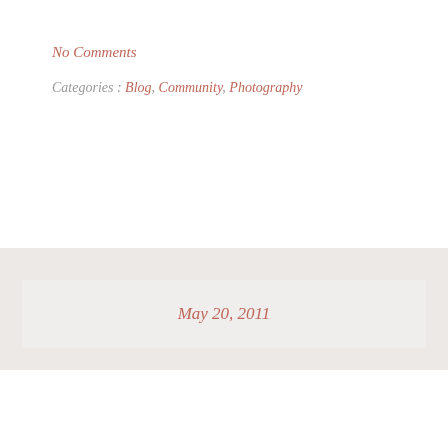No Comments
Categories : Blog, Community, Photography
May 20, 2011
Starting as the iThemes COO
Yesterday, Cory made
[Figure (photo): Partial photo with blue background, appears to show a person or object]